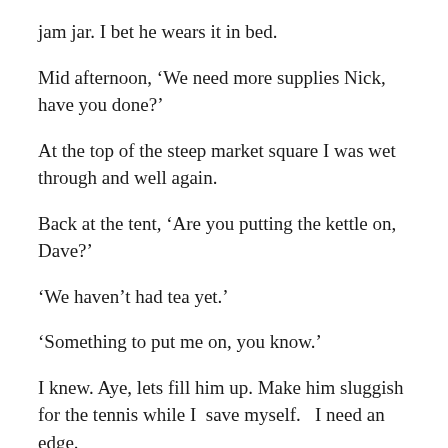jam jar.  I bet he wears it in bed.
Mid afternoon, ‘We need more supplies Nick, have you done?’
At the top of the steep market square I was wet through and well again.
Back at the tent, ‘Are you putting the kettle on, Dave?’
‘We haven’t had tea yet.’
‘Something to put me on, you know.’
I knew.  Aye, lets fill him up.  Make him sluggish for the tennis while I  save myself.   I need an edge.